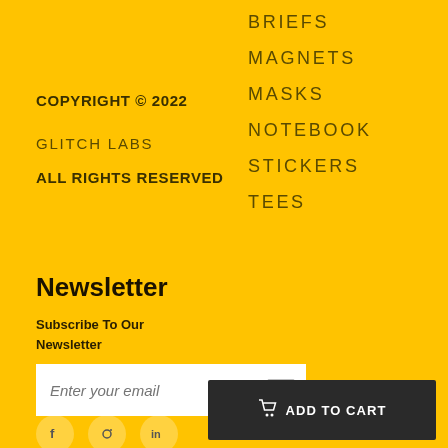COPYRIGHT © 2022
GLITCH LABS
ALL RIGHTS RESERVED
BRIEFS
MAGNETS
MASKS
NOTEBOOK
STICKERS
TEES
Newsletter
Subscribe To Our Newsletter
Enter your email
ADD TO CART